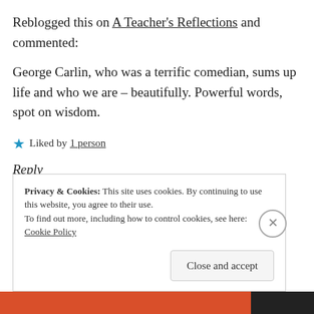Reblogged this on A Teacher's Reflections and commented:
George Carlin, who was a terrific comedian, sums up life and who we are – beautifully. Powerful words, spot on wisdom.
★ Liked by 1 person
Reply
Privacy & Cookies: This site uses cookies. By continuing to use this website, you agree to their use.
To find out more, including how to control cookies, see here: Cookie Policy
Close and accept